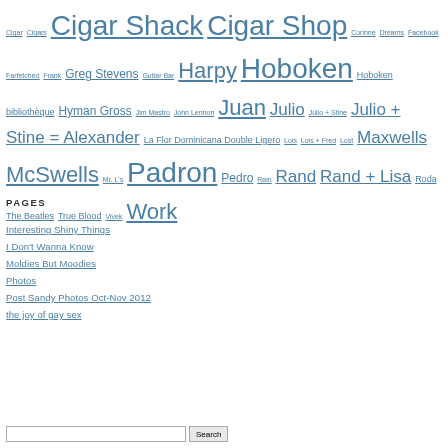Cigar Cigars Cigar Shack Cigar Shop Corinne Dreams Facebook Farfetched Frank Greg Stevens Guitar Bar Harpy Hoboken Hoboken bibliothèque Hyman Gross Jim Mastro John Lennon Juan Julio Julio + Stine Julio + Stine = Alexander La Flor Dominicana Double Ligero Lois Lois + Fred Lost Maxwells McSwells Mr. L's Padron Pedro Rain Rand Rand + Lisa Roda The Beatles True Blood Vivek Work
PAGES
Interesting Shiny Things
I Don't Wanna Know
Moldies But Moodies
Photos
Post Sandy Photos Oct-Nov 2012
the joy of gay sex